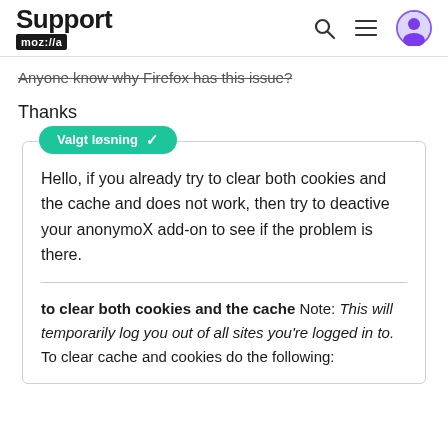Support mozilla
Anyone know why Firefox has this issue?
Thanks
Valgt løsning ✓
Hello, if you already try to clear both cookies and the cache and does not work, then try to deactive your anonymoX add-on to see if the problem is there.
to clear both cookies and the cache Note: This will temporarily log you out of all sites you're logged in to. To clear cache and cookies do the following: